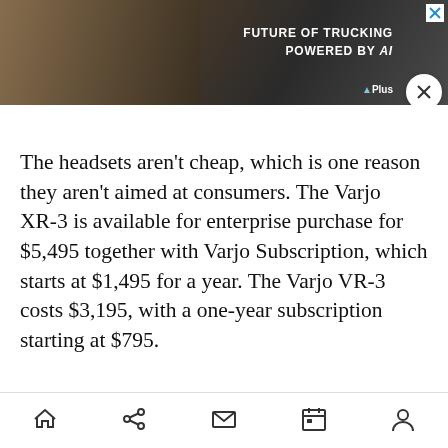[Figure (photo): Advertisement banner for Plus AI trucking — image of a semi truck on a desert road with text 'FUTURE OF TRUCKING POWERED BY AI' and Plus logo. Has a close/X button.]
The headsets aren't cheap, which is one reason they aren't aimed at consumers. The Varjo XR-3 is available for enterprise purchase for $5,495 together with Varjo Subscription, which starts at $1,495 for a year. The Varjo VR-3 costs $3,195, with a one-year subscription starting at $795.
[Figure (photo): Advertisement for Plus AI Semi-Autonomous Trucks — blue background with text 'Semi-Autonomous Trucks Are Here', 'Current Deployments in U.S., Europe, and China', Plus logo, and a partial truck image. Has a close/X button and ADVERTISEMENT label above.]
Home | Share | Mail | Calendar | Profile navigation icons